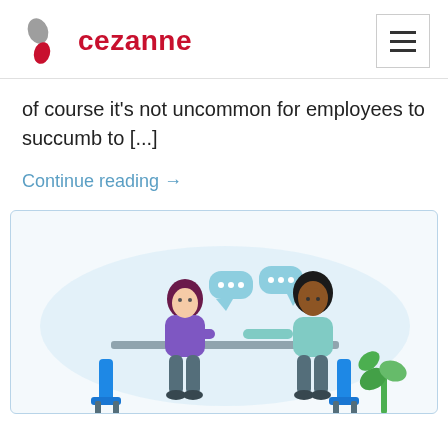cezanne
of course it's not uncommon for employees to succumb to [...]
Continue reading →
[Figure (illustration): Two people having a conversation across a table, both seated in blue chairs. They have speech bubbles with ellipsis dots above them. A green plant is visible in the bottom right corner. Light blue background blob shape behind them.]